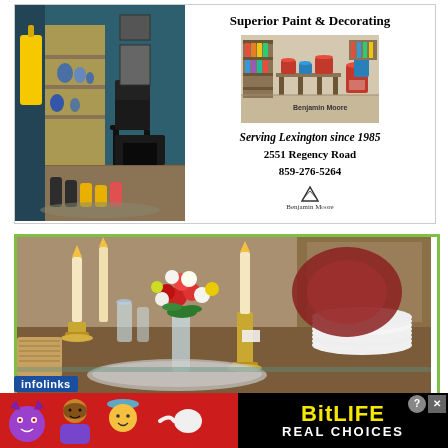[Figure (infographic): Advertisement for Superior Paint & Decorating with two photos (interior room with blue walls and yellow raincoat, and store interior with paint supplies), store name, tagline, address, phone, and Benjamin Moore logo]
Superior Paint & Decorating
Serving Lexington since 1985
2551 Regency Road
859-276-5264
[Figure (photo): Table setting with candles in brass candlesticks, flowers in crystal vase, stacked white plates, ornate red chair in background]
[Figure (other): infolinks badge overlay]
[Figure (infographic): BitLife game advertisement banner with emoji characters (devil, person, angel) and text REAL CHOICES on black background]